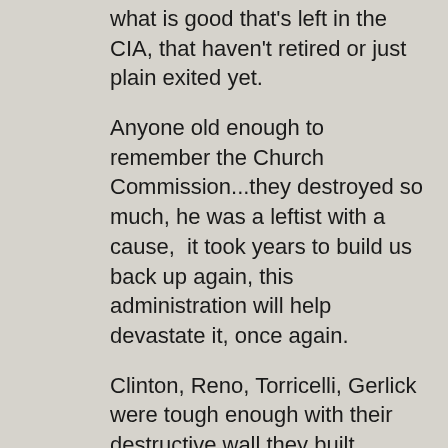what is good that's left in the CIA, that haven't retired or just plain exited yet.
Anyone old enough to remember the Church Commission...they destroyed so much, he was a leftist with a cause, it took years to build us back up again, this administration will help devastate it, once again.
Clinton, Reno, Torricelli, Gerlick were tough enough with their destructive wall they built between the CIA/FBI..let alone everything having to be done via courts instead of just going after the SOBs and ridding them once and for all, especially after the Cole...